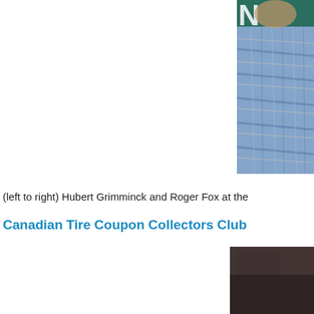[Figure (photo): Partial photo of a man wearing a blue plaid shirt, cropped on the right side of the page, with a dark teal/green background behind him. Only the right portion of the image is visible.]
(left to right) Hubert Grimminck and Roger Fox at the
Canadian Tire Coupon Collectors Club
[Figure (photo): Partial photo with a dark brown/grey background, cropped on the right side of the page. Bottom portion of the page.]